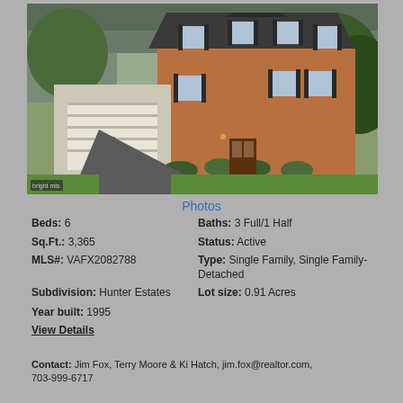[Figure (photo): Exterior photo of a two-story brick colonial home with attached garage, driveway, green lawn, and trees]
Photos
Beds: 6
Baths: 3 Full/1 Half
Sq.Ft.: 3,365
Status: Active
MLS#: VAFX2082788
Type: Single Family, Single Family-Detached
Subdivision: Hunter Estates
Lot size: 0.91 Acres
Year built: 1995
View Details
Contact: Jim Fox, Terry Moore & Ki Hatch, jim.fox@realtor.com, 703-999-6717